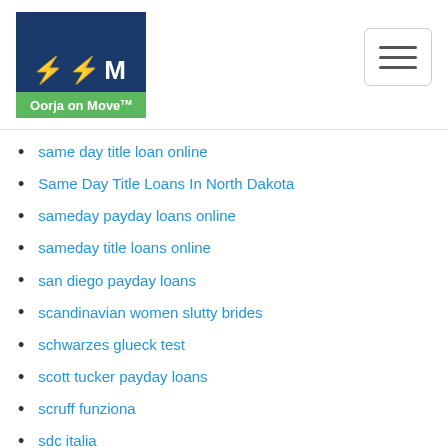Oorja on Move
same day title loan online
Same Day Title Loans In North Dakota
sameday payday loans online
sameday title loans online
san diego payday loans
scandinavian women slutty brides
schwarzes glueck test
scott tucker payday loans
scruff funziona
sdc italia
sdc login
SDC reviews
SDC was kostet
search
second chance payday loans no teletrack
secret benefits app